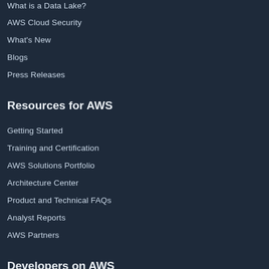What is a Data Lake?
AWS Cloud Security
What's New
Blogs
Press Releases
Resources for AWS
Getting Started
Training and Certification
AWS Solutions Portfolio
Architecture Center
Product and Technical FAQs
Analyst Reports
AWS Partners
Developers on AWS
Developer Center